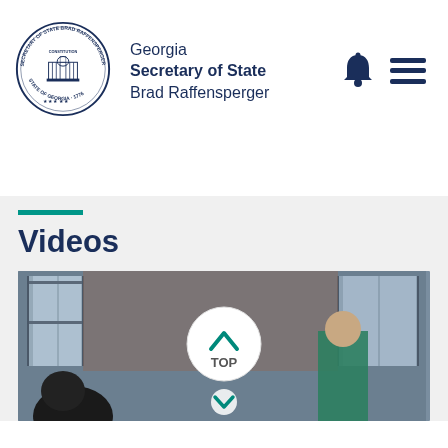[Figure (logo): Georgia Secretary of State official circular seal with state capitol building illustration, stars, and text around the border reading 'Secretary of State Brad Raffensperger State of Georgia 1776']
Georgia
Secretary of State
Brad Raffensperger
[Figure (illustration): Navigation icons: bell notification icon and hamburger menu icon in dark navy blue]
Videos
[Figure (photo): Video thumbnail showing people in a room with large windows and brick walls. A circular TOP button with teal chevron up arrow is overlaid in the center. A teal chevron down arrow appears at the bottom center.]